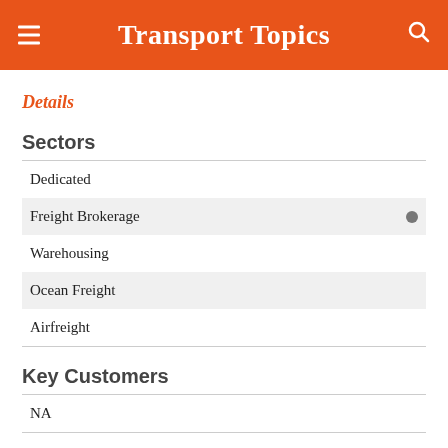Transport Topics
Details
Sectors
Dedicated
Freight Brokerage
Warehousing
Ocean Freight
Airfreight
Key Customers
NA